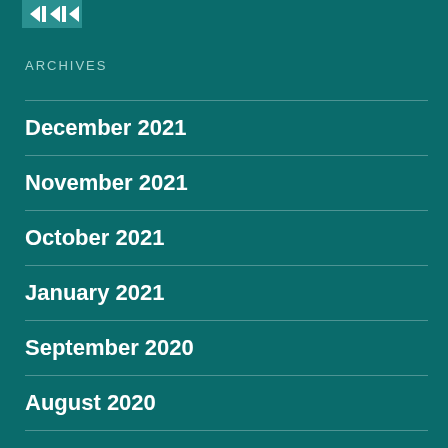[Figure (logo): Small logo icon with arrow/navigation elements on teal background]
ARCHIVES
December 2021
November 2021
October 2021
January 2021
September 2020
August 2020
July 2020